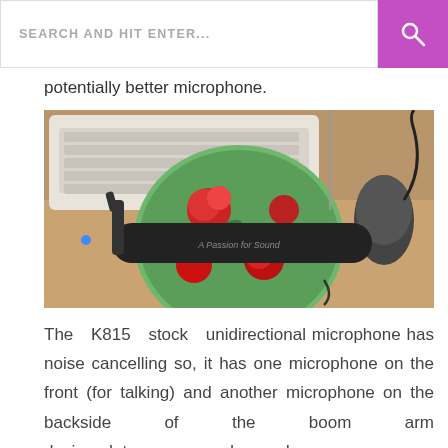SEARCH AND HIT ENTER...
potentially better microphone.
[Figure (photo): Photo of headphones with floral pattern earcups placed on a desk with a keyboard and mouse in the background. The headband reads 'A Passion for Sound'.]
The K815 stock unidirectional microphone has noise cancelling so, it has one microphone on the front (for talking) and another microphone on the backside of the boom arm designed to suppressed sound